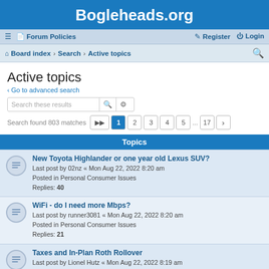Bogleheads.org
≡  Forum Policies    Register  Login
Board index · Search · Active topics
Active topics
Go to advanced search
Search these results
Search found 803 matches  1 2 3 4 5 ... 17
Topics
New Toyota Highlander or one year old Lexus SUV?
Last post by 02nz « Mon Aug 22, 2022 8:20 am
Posted in Personal Consumer Issues
Replies: 40
WiFi - do I need more Mbps?
Last post by runner3081 « Mon Aug 22, 2022 8:20 am
Posted in Personal Consumer Issues
Replies: 21
Taxes and In-Plan Roth Rollover
Last post by Lionel Hutz « Mon Aug 22, 2022 8:19 am
Posted in Personal Investments
Replies: 1